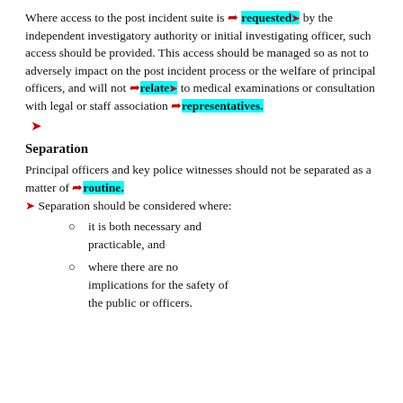Where access to the post incident suite is [arrow] requested [arrow] by the independent investigatory authority or initial investigating officer, such access should be provided. This access should be managed so as not to adversely impact on the post incident process or the welfare of principal officers, and will not [arrow] relate [arrow] to medical examinations or consultation with legal or staff association [arrow] representatives.
Separation
Principal officers and key police witnesses should not be separated as a matter of [arrow] routine. [arrow] Separation should be considered where:
it is both necessary and practicable, and
where there are no implications for the safety of the public or officers.